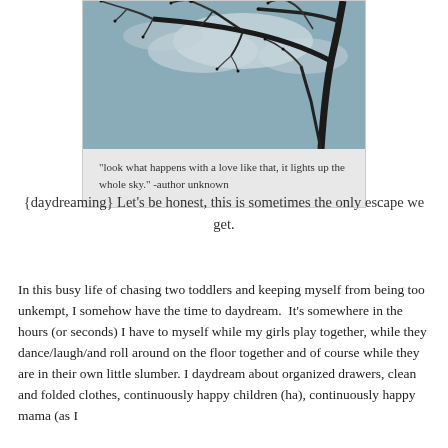[Figure (photo): Photo of bare tree branches silhouetted against a blue-grey sky with clouds, displayed in a grey-bordered card]
“look what happens with a love like that, it lights up the whole sky.” -author unknown
{daydreaming} Let’s be honest, this is sometimes the only escape we get.
In this busy life of chasing two toddlers and keeping myself from being too unkempt, I somehow have the time to daydream.  It’s somewhere in the hours (or seconds) I have to myself while my girls play together, while they dance/laugh/and roll around on the floor together and of course while they are in their own little slumber. I daydream about organized drawers, clean and folded clothes, continuously happy children (ha), continuously happy mama (as I